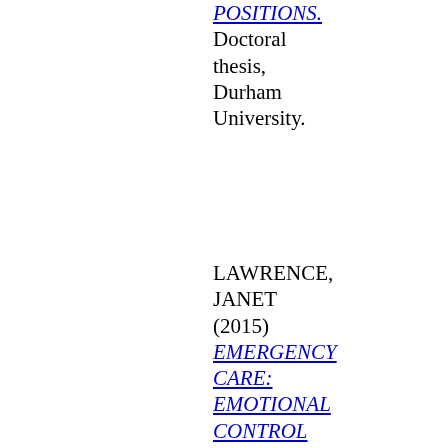POSITIONS. Doctoral thesis, Durham University.
LAWRENCE, JANET (2015) EMERGENCY CARE: EMOTIONAL CONTROL An exploration of what constitutes emotional labour for a